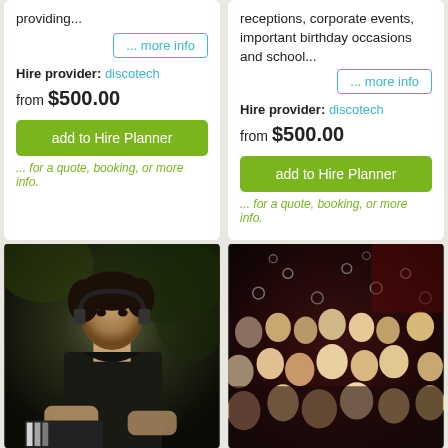providing...
... more info
Hire provider: discotech
from $500.00
add to Hire Planner
... for a quote, booking, or more info.
receptions, corporate events, important birthday occasions and school...
... more info
Hire provider: discotech
from $500.00
add to Hire Planner
... for a quote, booking, or more info.
[Figure (photo): DJ at turntables, wearing black with headphones around neck, dark background with foliage]
[Figure (photo): Crowd of people at a party/club event, with small circular lights/bubbles in the background]